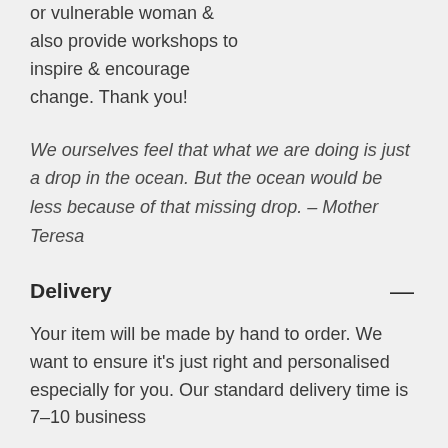handbook to a young girl or vulnerable woman & also provide workshops to inspire & encourage change. Thank you!
We ourselves feel that what we are doing is just a drop in the ocean. But the ocean would be less because of that missing drop. – Mother Teresa
Delivery
Your item will be made by hand to order. We want to ensure it's just right and personalised especially for you. Our standard delivery time is 7–10 business